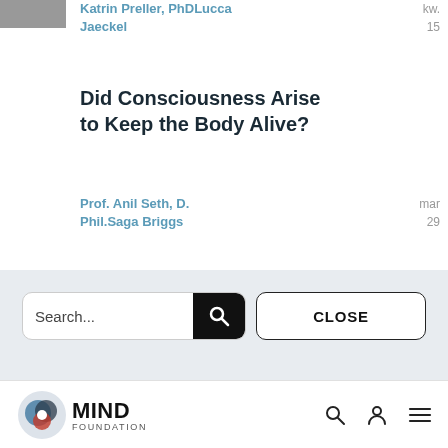[Figure (photo): Partial thumbnail photo at top left corner]
Katrin Preller, PhDLucca Jaeckel
kw. 15
Did Consciousness Arise to Keep the Body Alive?
Prof. Anil Seth, D. Phil.Saga Briggs
mar 29
[Figure (screenshot): Search bar with text input, search icon button, and CLOSE button on light blue-grey background]
[Figure (logo): MIND Foundation logo with circular icon and MIND FOUNDATION text, plus search, user, and menu icons]